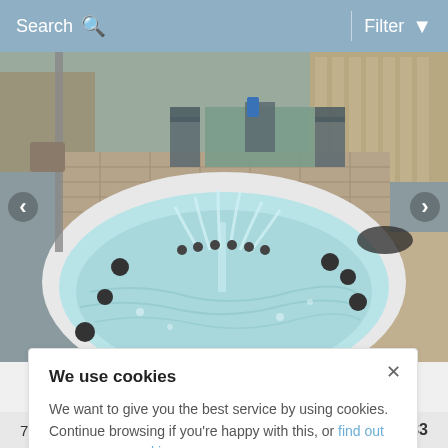Search  Filter
[Figure (photo): Outdoor hot tub / swim spa with water jets running, surrounded by patio furniture and wooden fencing in a garden setting. Navigation arrows on left and right sides.]
We use cookies

We want to give you the best service by using cookies. Continue browsing if you're happy with this, or find out more on our cookies.
7 nights   £483-£833